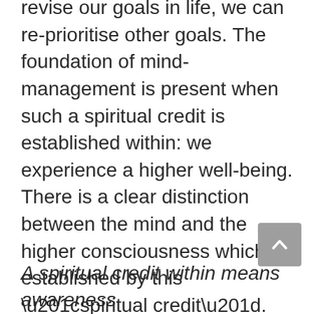revise our goals in life, we can re-prioritise other goals. The foundation of mind-management is present when such a spiritual credit is established within: we experience a higher well-being. There is a clear distinction between the mind and the higher consciousness which is established by this “spiritual credit”. We may also periodically check our “balance” by taking up self-assessment, self-audit, and evaluating our progress. Life is a journey to the goal; we don’t mistake the path for the goal.
A spiritual credit within means awareness...